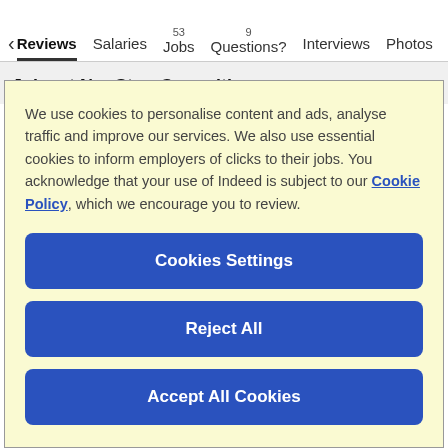< Reviews  23  Salaries  53 Jobs  9 Questions?  Interviews  Photos
Jobs at NonStop Consulting
We use cookies to personalise content and ads, analyse traffic and improve our services. We also use essential cookies to inform employers of clicks to their jobs. You acknowledge that your use of Indeed is subject to our Cookie Policy, which we encourage you to review.
Cookies Settings
Reject All
Accept All Cookies